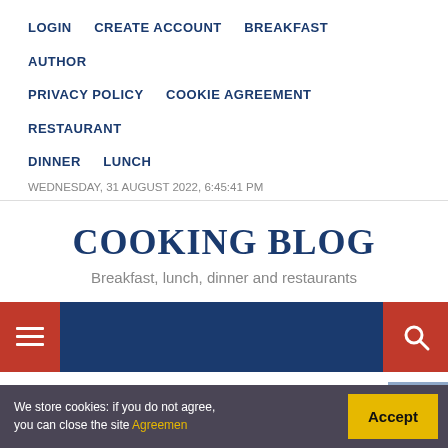LOGIN  CREATE ACCOUNT  BREAKFAST  AUTHOR  PRIVACY POLICY  COOKIE AGREEMENT  RESTAURANT  DINNER  LUNCH
WEDNESDAY, 31 AUGUST 2022, 6:45:41 PM
COOKING BLOG
Breakfast, lunch, dinner and restaurants
[Figure (screenshot): Navigation bar with hamburger menu (red button, white lines) on left and search icon (red button, magnifying glass) on right, dark blue background]
WINDOWS OF THE WORLD RESTAURANT NYC
We store cookies: if you do not agree, you can close the site Agreemen  Accept